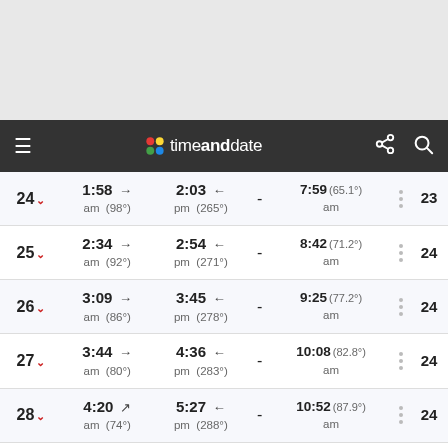timeanddate navigation bar
| Day | Moonrise | Moonset | - | Moon Noon |  |  |
| --- | --- | --- | --- | --- | --- | --- |
| 24 | 1:58 am (98°) → | 2:03 pm (265°) ← | - | 7:59 am (65.1°) |  | 23 |
| 25 | 2:34 am (92°) → | 2:54 pm (271°) ← | - | 8:42 am (71.2°) |  | 24 |
| 26 | 3:09 am (86°) → | 3:45 pm (278°) ← | - | 9:25 am (77.2°) |  | 24 |
| 27 | 3:44 am (80°) → | 4:36 pm (283°) ← | - | 10:08 am (82.8°) |  | 24 |
| 28 | 4:20 am (74°) → | 5:27 pm (288°) ← | - | 10:52 am (87.9°) |  | 24 |
| 29 | 4:59 am (69°) → | 6:20 pm (293°) ← | - | 11:38 am (87.7°) |  | 24 |